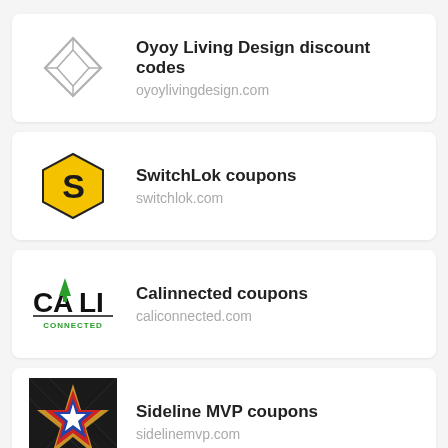[Figure (logo): Oyoy Living Design logo: geometric diamond/rhombus outline shape]
Oyoy Living Design discount codes
oyoylivingdesign.com
[Figure (logo): SwitchLok logo: yellow hexagon with black S letter]
SwitchLok coupons
switchlok.com
[Figure (logo): CaliConnected logo: text CALI with green tree replacing the A, CONNECTED below]
Calinnected coupons
caliconnected.com
[Figure (logo): Sideline MVP logo: star with red, gold, blue coloring on dark background]
Sideline MVP coupons
sidelinemvp.com